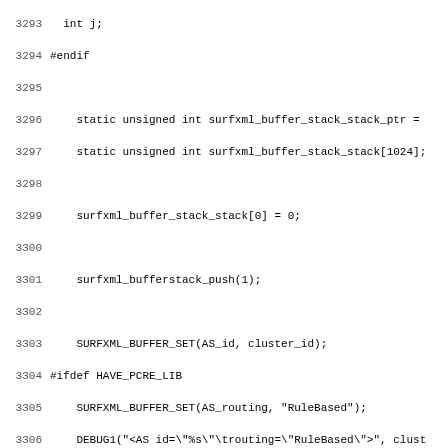[Figure (screenshot): Source code listing in monospace font showing C code lines 3293-3325, including static variable declarations, function calls like surfxml_buffer_stack_push, SURFXML_BUFFER_SET, DEBUG1, SURFXML_START_TAG, and loop constructs with xbt_dynar_foreach and switch statements.]